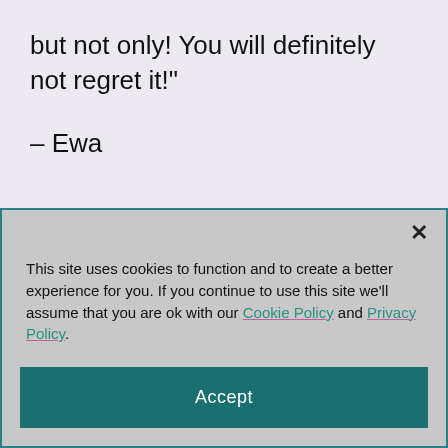but not only! You will definitely not regret it!"
– Ewa
This site uses cookies to function and to create a better experience for you. If you continue to use this site we'll assume that you are ok with our Cookie Policy and Privacy Policy.